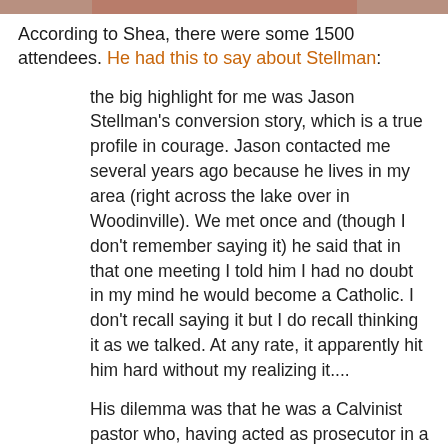[Figure (photo): Partial image at the top of the page, showing a cropped photo with brownish/reddish tones]
According to Shea, there were some 1500 attendees. He had this to say about Stellman:
the big highlight for me was Jason Stellman's conversion story, which is a true profile in courage. Jason contacted me several years ago because he lives in my area (right across the lake over in Woodinville). We met once and (though I don't remember saying it) he said that in that one meeting I told him I had no doubt in my mind he would become a Catholic. I don't recall saying it but I do recall thinking it as we talked. At any rate, it apparently hit him hard without my realizing it....
His dilemma was that he was a Calvinist pastor who, having acted as prosecutor in a heresy trial against Peter Leithart for exhibiting dangerously Romish tendencies, had himself wound up taking too close a look at the Church's claims and--after